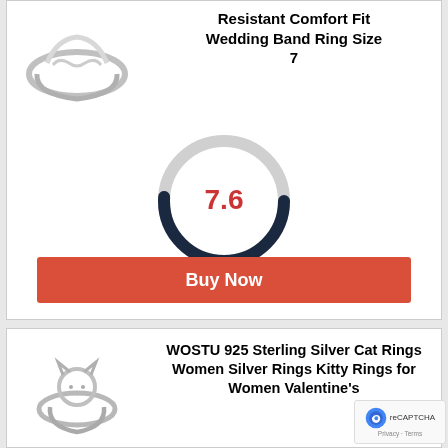[Figure (photo): Silver infinity-style ring product photo on white background]
Resistant Comfort Fit Wedding Band Ring Size 7
[Figure (donut-chart): Score: 7.6 out of 10]
Buy Now
[Figure (photo): Silver cat ring product photo on white background]
WOSTU 925 Sterling Silver Cat Rings Women Silver Rings Kitty Rings for Women Valentine's